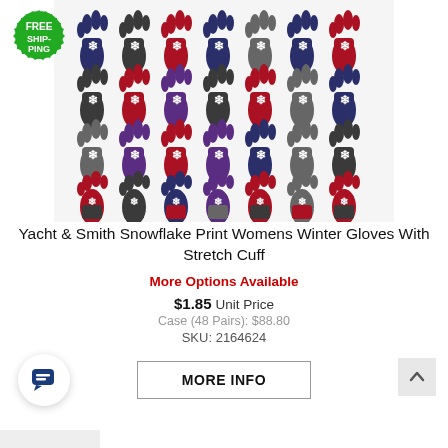[Figure (photo): Multiple colorful snowflake print winter gloves arranged in rows, showing various color combinations including navy, red, gray, and purple]
[Figure (logo): Green circular badge with serrated edge reading FREE SHIPPING in white text]
Yacht & Smith Snowflake Print Womens Winter Gloves With Stretch Cuff
More Options Available
$1.85 Unit Price
Case (48 Pairs): $88.80
SKU: 2164624
MORE INFO
[Figure (illustration): Chat bubble icon in dark navy/blue color inside a white circular button with shadow]
[Figure (illustration): Scroll to top arrow button in gray]